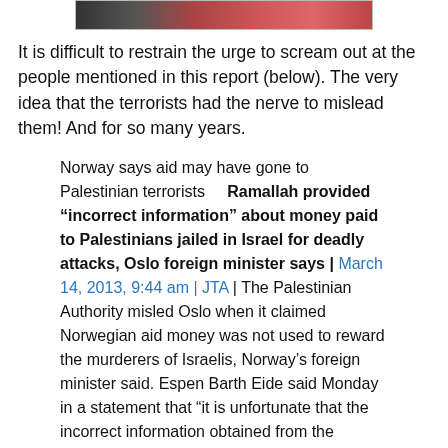[Figure (photo): Partial photo of people, cropped at top of page]
It is difficult to restrain the urge to scream out at the people mentioned in this report (below). The very idea that the terrorists had the nerve to mislead them! And for so many years.
Norway says aid may have gone to Palestinian terrorists    Ramallah provided “incorrect information” about money paid to Palestinians jailed in Israel for deadly attacks, Oslo foreign minister says | March 14, 2013, 9:44 am | JTA | The Palestinian Authority misled Oslo when it claimed Norwegian aid money was not used to reward the murderers of Israelis, Norway’s foreign minister said. Espen Barth Eide said Monday in a statement that “it is unfortunate that the incorrect information obtained from the Palestinian Authority was communicated to the Parliament.” The statement was quoted in an article by the daily Dagen. Anders Anundsen, a lawmaker for the Progress Party, said the government has long claimed that Norwegian